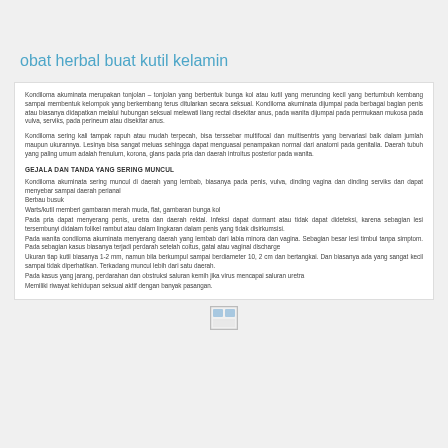obat herbal buat kutil kelamin
Kondiloma akuminata merupakan tonjolan – tonjolan yang berbentuk bunga kol atau kutil yang meruncing kecil yang bertumbuh kembang sampai membentuk kelompok yang berkembang terus ditularkan secara seksual. Kondiloma akuminata dijumpai pada berbagai bagian penis atau biasanya didapatkan melalui hubungan seksual melewati liang rectal disekitar anus, pada wanita dijumpai pada permukaan mukosa pada vulva, serviks, pada perineum atau disekitar anus.
Kondiloma sering kali tampak rapuh atau mudah terpecah, bisa terssebar multifocal dan multisentris yang bervariasi baik dalam jumlah maupun ukurannya. Lesinya bisa sangat meluas sehingga dapat menguasai penampakan normal dari anatomi pada genitalia. Daerah tubuh yang paling umum adalah frenulum, korona, glans pada pria dan daerah introitus posterior pada wanita.
GEJALA DAN TANDA YANG SERING MUNCUL
Kondiloma akuminata sering muncul di daerah yang lembab, biasanya pada penis, vulva, dinding vagina dan dinding serviks dan dapat menyebar sampai daerah perianal
Berbau busuk
Warts/kutil memberi gambaran merah muda, flat, gambaran bunga kol
Pada pria dapat menyerang penis, uretra dan daerah rektal. Infeksi dapat dormant atau tidak dapat dideteksi, karena sebagian lesi tersembunyi didalam folikel rambut atau dalam lingkaran dalam penis yang tidak disirkumsisi.
Pada wanita condiloma akuminata menyerang daerah yang lembab dari labia minora dan vagina. Sebagian besar lesi timbul tanpa simptom. Pada sebagian kasus biasanya terjadi perdarah setelah coitus, gatal atau vaginal discharge
Ukuran tiap kutil biasanya 1-2 mm, namun bila berkumpul sampai berdiameter 10, 2 cm dan bertangkai. Dan biasanya ada yang sangat kecil sampai tidak diperhatikan. Terkadang muncul lebih dari satu daerah.
Pada kasus yang jarang, perdarahan dan obstruksi saluran kemih jika virus mencapai saluran uretra
Memiliki riwayat kehidupan seksual aktif dengan banyak pasangan.
[Figure (photo): Small image icon placeholder at bottom of page]